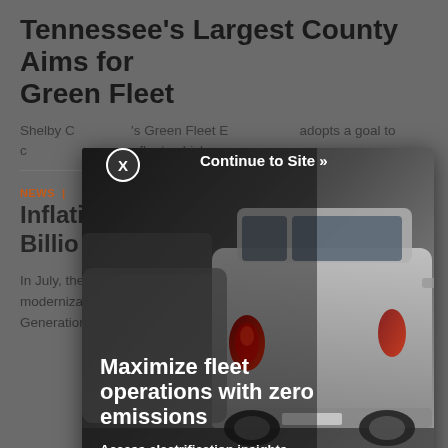Tennessee's Largest County Aims for Green Fleet
Shelby County's Green Fleet Executive Order adopts a goal to convert all fleet vehicles ...
[Figure (screenshot): Advertisement overlay showing cars in a parking lot with text 'Maximize fleet operations with zero emissions. Access electrification insights. GEOTAB.' A close button (X) and 'Continue to Site »' link appear at the top of the ad.]
NEWS |
Inflation ... 3 Billion ... re
In July, the Postal Service announced that thanks to a modernization plan, at least 50% of its initial purchase of Next Generation Delivery Vehicles will be BEVs.